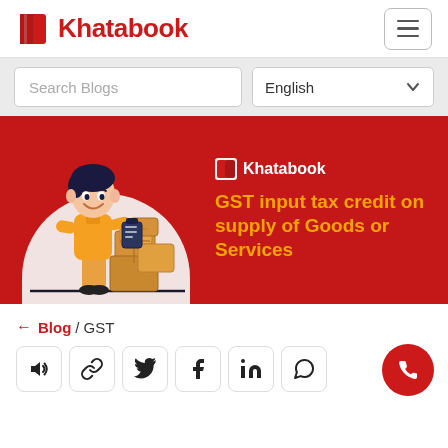[Figure (logo): Khatabook logo with red book icon and red text]
Search Blogs
English
[Figure (illustration): Red banner with illustration of delivery person in orange uniform holding clipboard next to stacked boxes. Khatabook logo in white. Text: GST input tax credit on supply of Goods or Services in orange/gold.]
← Blog / GST
[Figure (infographic): Social sharing icons: speaker/audio, link/chain, Twitter, Facebook, LinkedIn, WhatsApp]